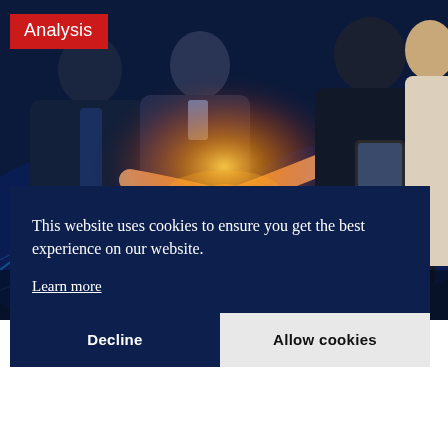[Figure (photo): Business people in suits shaking hands with financial chart background and golden light flare effect. Blue and dark tones with an orange glow at the center. An 'Analysis' red label badge overlaid at the top left.]
This website uses cookies to ensure you get the best experience on our website.
Learn more
Decline
Allow cookies